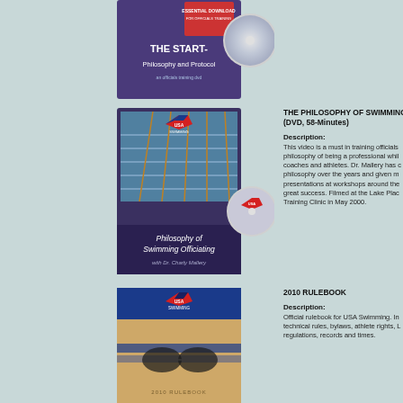[Figure (photo): DVD cover for 'The Start - Philosophy and Protocol' - partially visible at top of page, purple/dark cover with DVD disc]
[Figure (photo): DVD cover for 'Philosophy of Swimming Officiating with Dr. Charly Mallery' - USA Swimming branded, shows aerial view of swimming pool with lanes, with DVD disc overlay]
THE PHILOSOPHY OF SWIMMING O… (DVD, 58-Minutes)
Description: This video is a must in training officials philosophy of being a professional while coaches and athletes. Dr. Mallery has c philosophy over the years and given m presentations at workshops around the great success. Filmed at the Lake Plac Training Clinic in May 2000.
[Figure (photo): Cover of 2010 Rulebook for USA Swimming - shows goggles and swimmer, USA Swimming logo at top]
2010 RULEBOOK
Description: Official rulebook for USA Swimming. In technical rules, bylaws, athlete rights, L regulations, records and times.